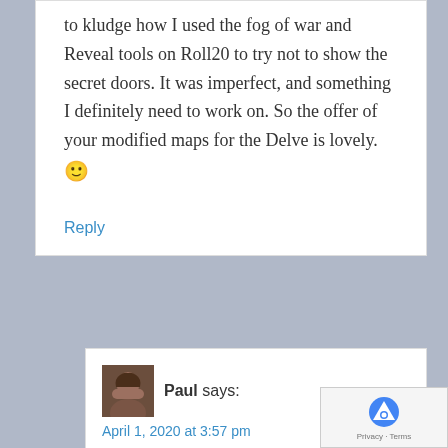to kludge how I used the fog of war and Reveal tools on Roll20 to try not to show the secret doors. It was imperfect, and something I definitely need to work on. So the offer of your modified maps for the Delve is lovely. 🙂
Reply
Paul says:
April 1, 2020 at 3:57 pm
Here's a zip of all the maps I used